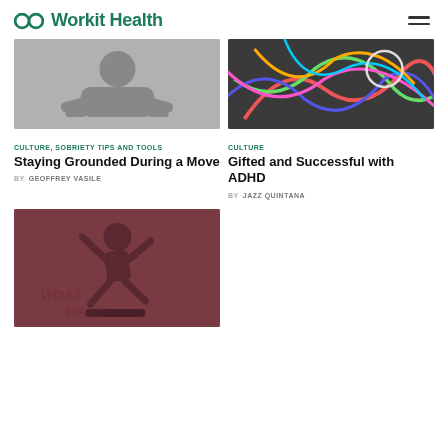Workit Health
[Figure (photo): Grayscale photo of a person sitting cross-legged on a bed or floor]
[Figure (photo): Colorful photo of tangled wires with colorful rubber bands or cords on a dark background]
CULTURE, SOBRIETY TIPS AND TOOLS
Staying Grounded During a Move
BY GEOFFREY VASILE
CULTURE
Gifted and Successful with ADHD
BY JAZZ QUINTANA
[Figure (photo): Mauve/dark red tinted photo of a man in a suit doing a skateboard trick, jumping in the air]